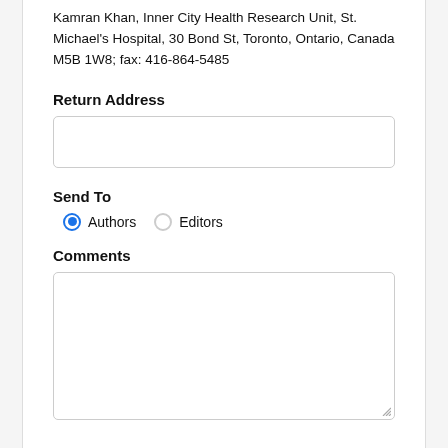Kamran Khan, Inner City Health Research Unit, St. Michael's Hospital, 30 Bond St, Toronto, Ontario, Canada M5B 1W8; fax: 416-864-5485
Return Address
[Figure (other): Empty text input box for Return Address]
Send To
Authors (selected radio button) | Editors (unselected radio button)
Comments
[Figure (other): Empty textarea for Comments with resize handle]